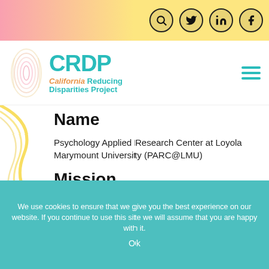[Figure (logo): CRDP California Reducing Disparities Project logo with teal CRDP text and orange/teal subtitle, alongside a colorful fingerprint graphic]
Name
Psychology Applied Research Center at Loyola Marymount University (PARC@LMU)
Mission
The Psychology Applied Research Center (PARC) at Loyola Marymount University is a grant-funded center that collaborates with a variety of community-based organizations and groups to inform social change and community empowerment through applied, action-oriented
We use cookies to ensure that we give you the best experience on our website. If you continue to use this site we will assume that you are happy with it.
Ok